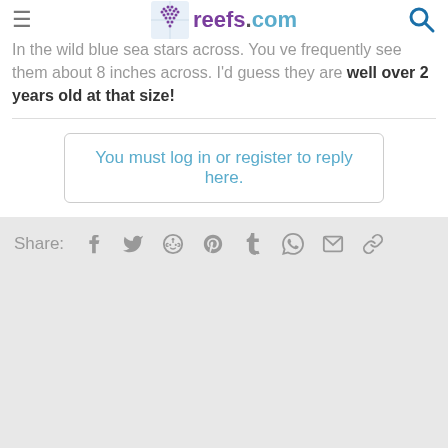reefs.com
In the wild blue sea stars frequently see them about 8 inches across. You ve frequently see them about 8 inches across. I'd guess they are well over 2 years old at that size!
You must log in or register to reply here.
Share: